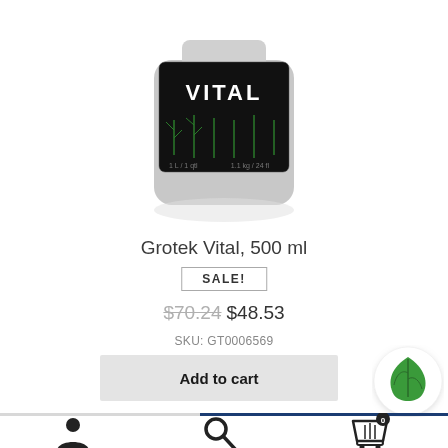[Figure (photo): Partially cropped product bottle of Grotek Vital 500ml with dark label showing plant graphics and white 'VITAL' text, silver/gray bottle body with reflection]
Grotek Vital, 500 ml
SALE!
$70.24  $48.53
SKU: GT0006569
Add to cart
[Figure (logo): Green leaf icon in a white circle with shadow]
[Figure (illustration): Bottom navigation bar with user/profile icon, search icon, and shopping cart icon with badge showing 0]